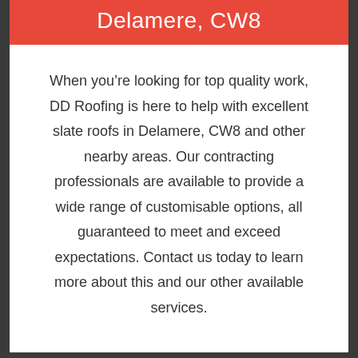Delamere, CW8
When you’re looking for top quality work, DD Roofing is here to help with excellent slate roofs in Delamere, CW8 and other nearby areas. Our contracting professionals are available to provide a wide range of customisable options, all guaranteed to meet and exceed expectations. Contact us today to learn more about this and our other available services.